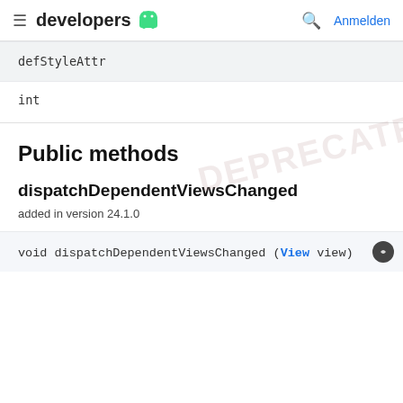≡  developers 🤖   🔍  Anmelden
| defStyleAttr |
| --- |
| int |
Public methods
dispatchDependentViewsChanged
added in version 24.1.0
void dispatchDependentViewsChanged (View view)